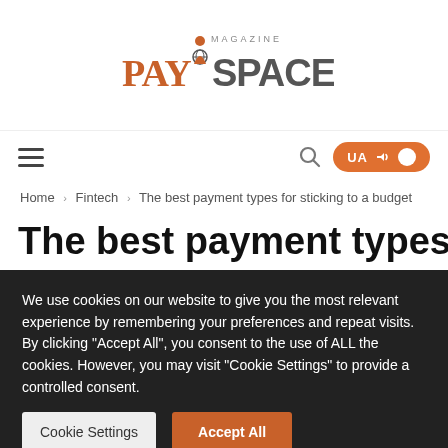[Figure (logo): PaySpace Magazine logo — stylized orange 'PAY' text with a figure icon and grey 'SPACE' text, with 'MAGAZINE' above in small caps]
Home > Fintech > The best payment types for sticking to a budget
The best payment types for
We use cookies on our website to give you the most relevant experience by remembering your preferences and repeat visits. By clicking "Accept All", you consent to the use of ALL the cookies. However, you may visit "Cookie Settings" to provide a controlled consent.
Cookie Settings | Accept All